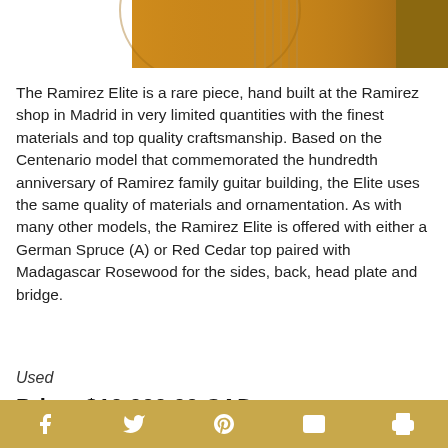[Figure (photo): Partial photo of a Ramirez guitar body showing the golden spruce top and strings, cropped at the top of the page]
The Ramirez Elite is a rare piece, hand built at the Ramirez shop in Madrid in very limited quantities with the finest materials and top quality craftsmanship. Based on the Centenario model that commemorated the hundredth anniversary of Ramirez family guitar building, the Elite uses the same quality of materials and ornamentation. As with many other models, the Ramirez Elite is offered with either a German Spruce (A) or Red Cedar top paired with Madagascar Rosewood for the sides, back, head plate and bridge.
Used
Price: $10,000.00 CAD